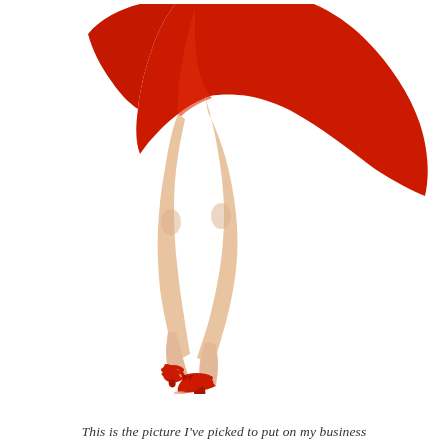[Figure (illustration): Pin-up style illustration of a woman's legs from thigh down, wearing red high-heeled sandals with ankle straps. A red dress or skirt is blowing upward in the wind, revealing the legs. The figure is on a white background. Only the legs, shoes, and billowing red skirt are visible — no torso or face shown.]
This is the picture I've picked to put on my business